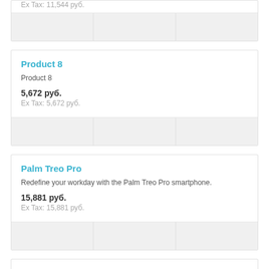Ex Tax: 11,544 руб.
Product 8
Product 8
5,672 руб.
Ex Tax: 5,672 руб.
Palm Treo Pro
Redefine your workday with the Palm Treo Pro smartphone.
15,881 руб.
Ex Tax: 15,881 руб.